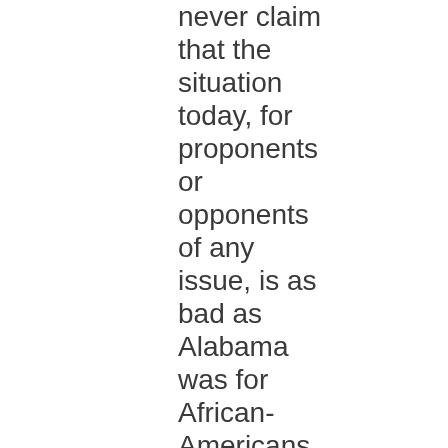never claim that the situation today, for proponents or opponents of any issue, is as bad as Alabama was for African-Americans in the 1950s. 1950s Alabama is not where we are today when it comes to harassment of people